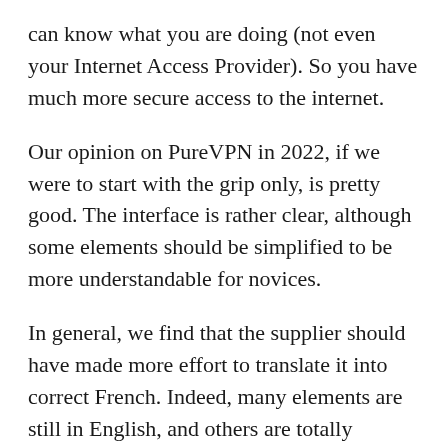can know what you are doing (not even your Internet Access Provider). So you have much more secure access to the internet.
Our opinion on PureVPN in 2022, if we were to start with the grip only, is pretty good. The interface is rather clear, although some elements should be simplified to be more understandable for novices.
In general, we find that the supplier should have made more effort to translate it into correct French. Indeed, many elements are still in English, and others are totally incomprehensible. This is also the case for the website, on which you will find totally insane sentences. It's a shame because it gives a direct bad impression of the brand and loses credibility from the first seconds on the